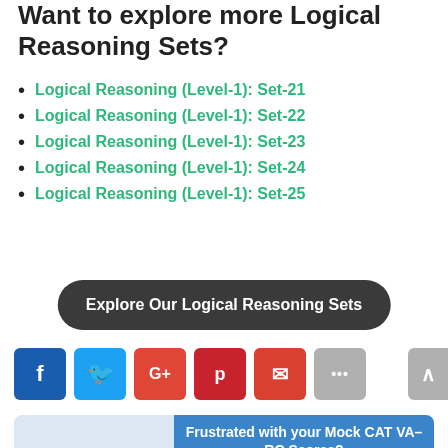Want to explore more Logical Reasoning Sets?
Logical Reasoning (Level-1): Set-21
Logical Reasoning (Level-1): Set-22
Logical Reasoning (Level-1): Set-23
Logical Reasoning (Level-1): Set-24
Logical Reasoning (Level-1): Set-25
Explore Our Logical Reasoning Sets
[Figure (infographic): Social sharing buttons: Facebook (blue), Twitter (light blue), Google+ (orange-red), Pinterest (red), Email (red), More (gray); scroll-to-top arrow button (gray)]
[Figure (infographic): Banner ad: frustrated student illustration on left with light blue background; right side blue background with text: Frustrated with your Mock CAT VA-RC Scores? Need expert help to guide you with this section for CAT & XAT? The Wordpandit's Ultimate VA-RC Course]